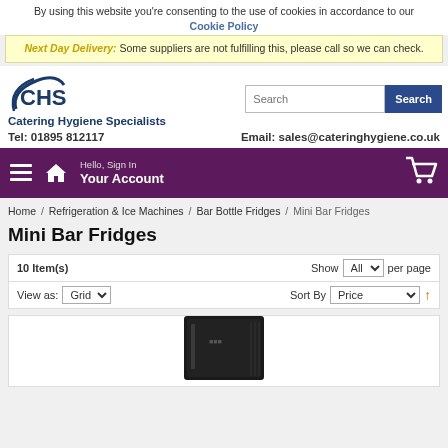By using this website you're consenting to the use of cookies in accordance to our Cookie Policy
Next Day Delivery: Some suppliers are not fulfilling this, please call so we can check.
[Figure (logo): CHS Catering Hygiene Specialists logo with search bar]
Tel: 01895 812117    Email: sales@cateringhygiene.co.uk
Hello, Sign In / Your Account (navigation bar with cart)
Home / Refrigeration & Ice Machines / Bar Bottle Fridges / Mini Bar Fridges
Mini Bar Fridges
10 Item(s)   Show All per page
View as: Grid   Sort By Price
[Figure (photo): Black mini bar fridge product image]